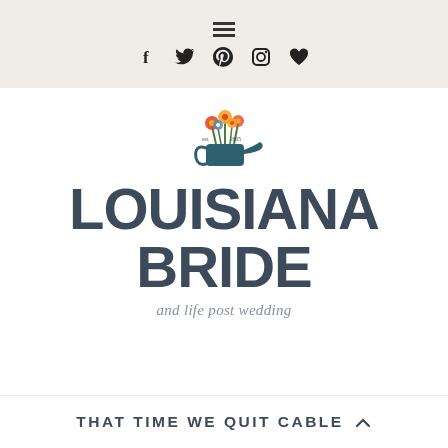≡ [hamburger icon] / f twitter pinterest instagram heart [social icons]
[Figure (logo): Louisiana Bride logo with a colorful floral watering can illustration above the text. Small text reads 'est. 2005'. Large bold dark blue-gray text reads 'LOUISIANA BRIDE'. Italic subtitle reads 'and life post wedding'.]
THAT TIME WE QUIT CABLE